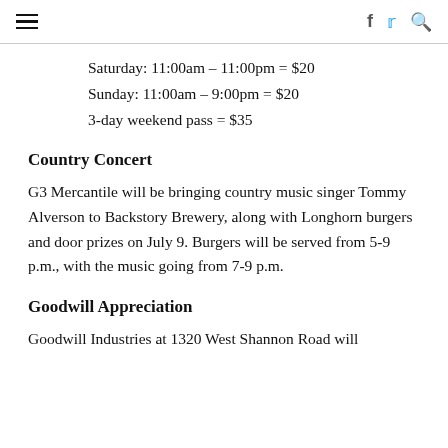≡  f  🐦  🔍
Saturday: 11:00am – 11:00pm = $20
Sunday: 11:00am – 9:00pm = $20
3-day weekend pass = $35
Country Concert
G3 Mercantile will be bringing country music singer Tommy Alverson to Backstory Brewery, along with Longhorn burgers and door prizes on July 9. Burgers will be served from 5-9 p.m., with the music going from 7-9 p.m.
Goodwill Appreciation
Goodwill Industries at 1320 West Shannon Road will